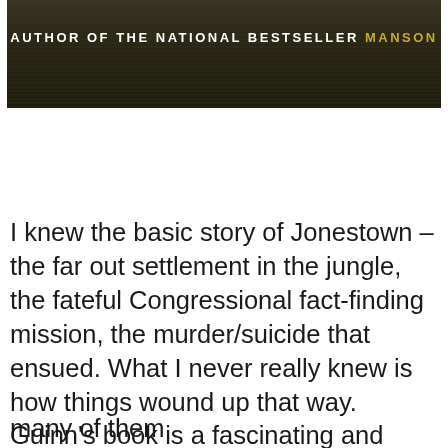[Figure (photo): Book cover image with dark background showing a person, text reads 'AUTHOR OF THE NATIONAL BESTSELLER MANSON' with MANSON in gold/yellow]
I knew the basic story of Jonestown – the far out settlement in the jungle, the fateful Congressional fact-finding mission, the murder/suicide that ensued. What I never really knew is how things wound up that way. Guinn's book is a fascinating and comprehensive look at
Privacy & Cookies: This site uses cookies. By continuing to use this website, you agree to their use.
To find out more, including how to control cookies, see here: Cookie Policy
Close and accept
him and equally horrific the things so many of them